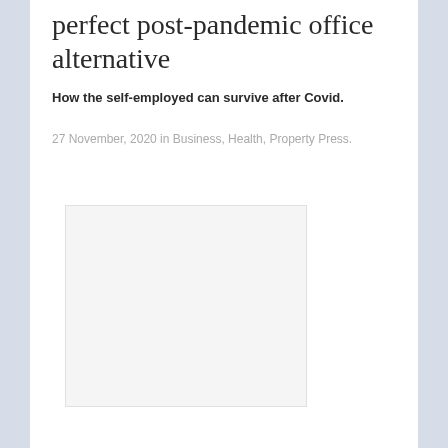perfect post-pandemic office alternative
How the self-employed can survive after Covid.
27 November, 2020 in Business, Health, Property Press.
[Figure (photo): Blank/placeholder image in white with light border]